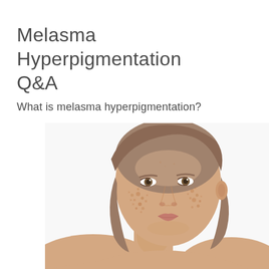Melasma Hyperpigmentation Q&A
What is melasma hyperpigmentation?
[Figure (photo): A woman with visible hyperpigmentation/melasma freckles on her face and cheeks, photographed against a white background, showing bare shoulders, looking slightly to the side.]